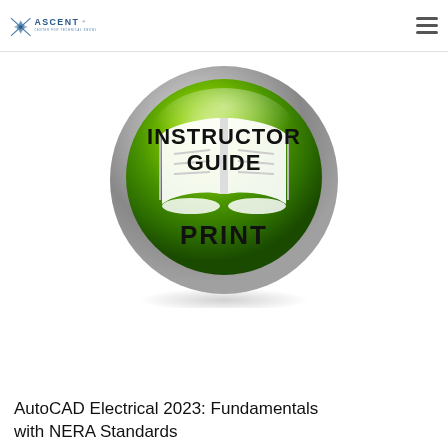ASCENT - CENTER FOR TECHNICAL KNOWLEDGE
[Figure (illustration): Green glossy circular badge with metallic gray ring border. Inside is a green gradient circle with a white open book icon. Text reads 'INSTRUCTOR GUIDE' in large bold black letters over the book, and 'PRINT' in large bold black letters at the bottom of the circle.]
AutoCAD Electrical 2023: Fundamentals with NERA Standards